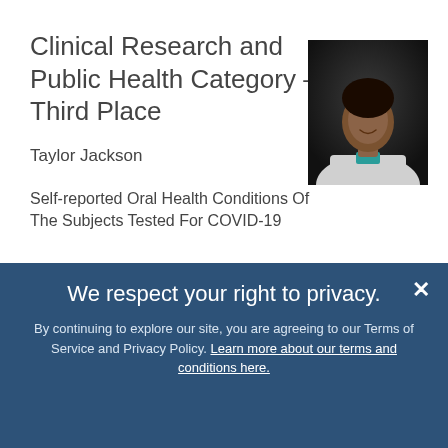Clinical Research and Public Health Category – Third Place
[Figure (photo): Headshot photo of Taylor Jackson, a woman in a white lab coat smiling against a dark background]
Taylor Jackson
Self-reported Oral Health Conditions Of The Subjects Tested For COVID-19
We respect your right to privacy.
By continuing to explore our site, you are agreeing to our Terms of Service and Privacy Policy. Learn more about our terms and conditions here.